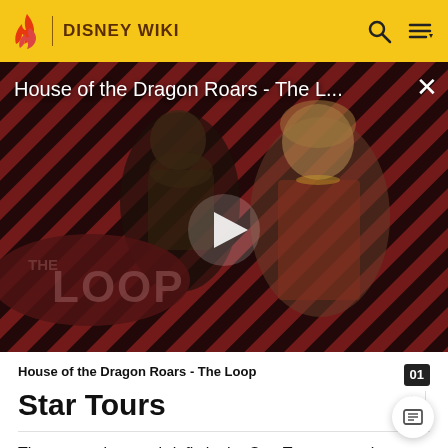DISNEY WIKI
[Figure (screenshot): Video thumbnail for 'House of the Dragon Roars - The L...' showing two characters against a red and black diagonal stripe background with The Loop logo watermark and a play button overlay]
House of the Dragon Roars - The Loop
Star Tours
They are only seen briefly in the Star Tours attraction, on the large display board in the queue area, where they are